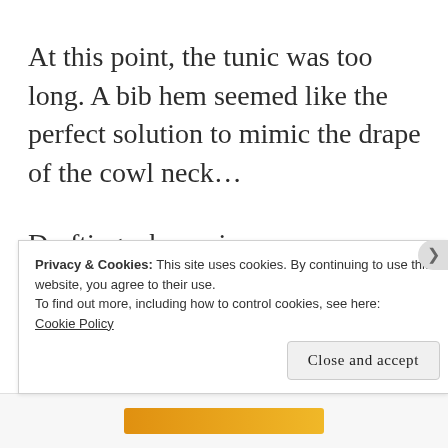At this point, the tunic was too long. A bib hem seemed like the perfect solution to mimic the drape of the cowl neck...
Drafting a hem piece was easy enough, however, in hindsight, it would have been better to eliminate all the “place on
Privacy & Cookies: This site uses cookies. By continuing to use this website, you agree to their use.
To find out more, including how to control cookies, see here:
Cookie Policy
Close and accept